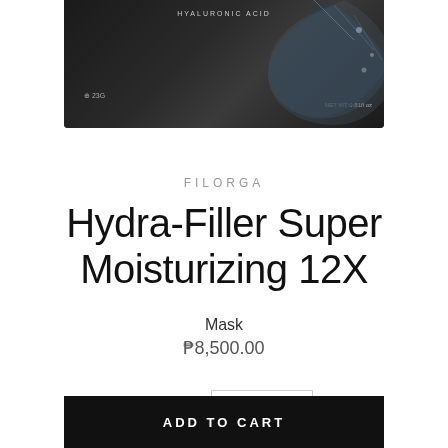[Figure (photo): Product image of Filorga Hydra-Filler Super Moisturizing 12X Mask packaging, dark/black box with water splash effect, shown partially at top of page]
FILORGA
Hydra-Filler Super Moisturizing 12X
Mask
₱8,500.00
Quantity  1
ADD TO CART